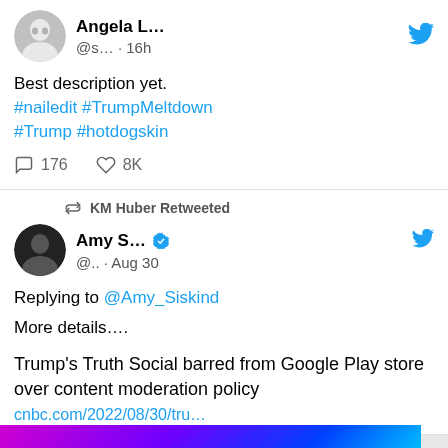[Figure (screenshot): Twitter/X tweet from Angela L... with handle @s... posted 16h ago]
Best description yet.
#nailedit #TrumpMeltdown
#Trump #hotdogskin
176 replies  8K likes
[Figure (screenshot): KM Huber Retweeted - Tweet from Amy S... verified account @... Aug 30, replying to @Amy_Siskind: More details.... Trump's Truth Social barred from Google Play store over content moderation policy cnbc.com/2022/08/30/tru...]
Replying to @Amy_Siskind
More details....

Trump's Truth Social barred from Google Play store over content moderation policy
cnbc.com/2022/08/30/tru...